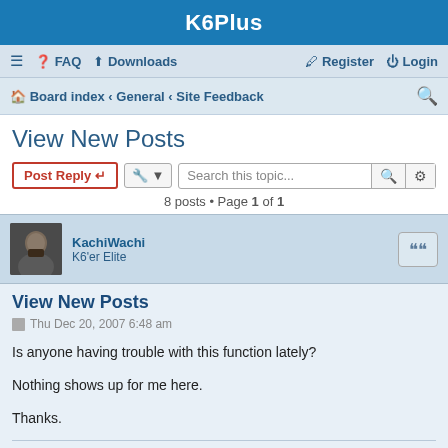K6Plus
≡  FAQ  Downloads   Register  Login
Board index · General · Site Feedback
View New Posts
Post Reply  [tools]  Search this topic...   8 posts • Page 1 of 1
KachiWachi
K6'er Elite
View New Posts
Thu Dec 20, 2007 6:48 am
Is anyone having trouble with this function lately?

Nothing shows up for me here.

Thanks.
Moderator - Wim's BIOS